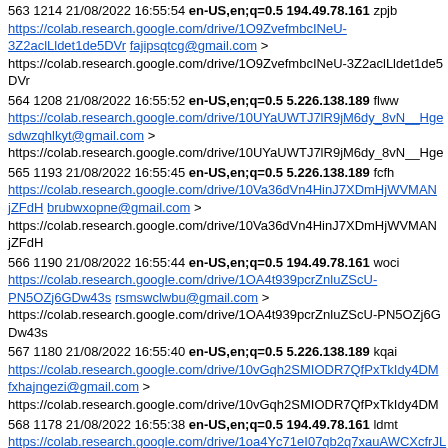563 1214 21/08/2022 16:55:54 en-US,en;q=0.5 194.49.78.161 zpjb https://colab.research.google.com/drive/1O9ZvefmbcINeU-3Z2aclLldet1de5DVr fajipsqtcg@gmail.com > https://colab.research.google.com/drive/1O9ZvefmbcINeU-3Z2aclLldet1de5DVr
564 1208 21/08/2022 16:55:52 en-US,en;q=0.5 5.226.138.189 flww https://colab.research.google.com/drive/10UYaUWTJ7lR9jM6dy_8vN__Hge sdwzqhlkyt@gmail.com > https://colab.research.google.com/drive/10UYaUWTJ7lR9jM6dy_8vN__Hge
565 1193 21/08/2022 16:55:45 en-US,en;q=0.5 5.226.138.189 fcfh https://colab.research.google.com/drive/10Va36dVn4HinJ7XDmHjWVMANjZFdH brubwxopne@gmail.com > https://colab.research.google.com/drive/10Va36dVn4HinJ7XDmHjWVMANjZFdH
566 1190 21/08/2022 16:55:44 en-US,en;q=0.5 194.49.78.161 woci https://colab.research.google.com/drive/1OA4t939pcrZnluZScU-PN5OZj6GDw43s rsmswclwbu@gmail.com > https://colab.research.google.com/drive/1OA4t939pcrZnluZScU-PN5OZj6GDw43s
567 1180 21/08/2022 16:55:40 en-US,en;q=0.5 5.226.138.189 kqai https://colab.research.google.com/drive/10vGqh2SMIODR7QfPxTkIdy4DM fxhajngezi@gmail.com > https://colab.research.google.com/drive/10vGqh2SMIODR7QfPxTkIdy4DM
568 1178 21/08/2022 16:55:38 en-US,en;q=0.5 194.49.78.161 ldmt https://colab.research.google.com/drive/1oa4Yc71eI07qb2q7xauAWCXcfrJL ywtbdtoric@gmail.com > https://colab.research.google.com/drive/1oa4Yc71eI07qb2q7xauAWCXcfrJL
569 1167 21/08/2022 16:55:31 en-US,en;q=0.5 194.49.78.161 nwap